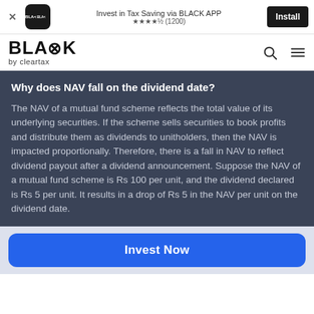[Figure (screenshot): Ad banner: BLACK app install prompt with icon, star rating 4.5 (1200), and Install button]
[Figure (logo): BLACK by cleartax logo with search and hamburger menu icons]
Why does NAV fall on the dividend date?
The NAV of a mutual fund scheme reflects the total value of its underlying securities. If the scheme sells securities to book profits and distribute them as dividends to unitholders, then the NAV is impacted proportionally. Therefore, there is a fall in NAV to reflect dividend payout after a dividend announcement. Suppose the NAV of a mutual fund scheme is Rs 100 per unit, and the dividend declared is Rs 5 per unit. It results in a drop of Rs 5 in the NAV per unit on the dividend date.
[Figure (other): Invest Now blue CTA button]